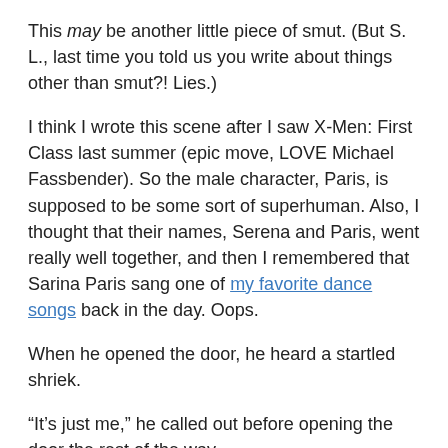This may be another little piece of smut. (But S. L., last time you told us you write about things other than smut?! Lies.)
I think I wrote this scene after I saw X-Men: First Class last summer (epic move, LOVE Michael Fassbender). So the male character, Paris, is supposed to be some sort of superhuman. Also, I thought that their names, Serena and Paris, went really well together, and then I remembered that Sarina Paris sang one of my favorite dance songs back in the day. Oops.
When he opened the door, he heard a startled shriek.
“It’s just me,” he called out before opening the door the rest of the way.
“I know!” Serena replied, but her voice was still high. “Turn